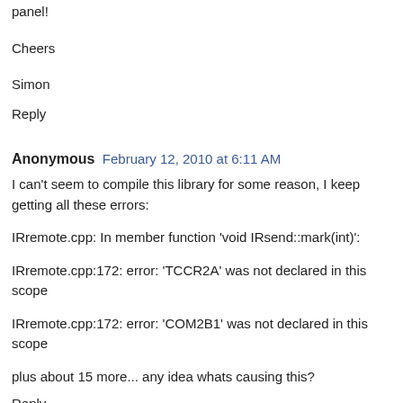panel!
Cheers
Simon
Reply
Anonymous  February 12, 2010 at 6:11 AM
I can't seem to compile this library for some reason, I keep getting all these errors:
IRremote.cpp: In member function 'void IRsend::mark(int)':
IRremote.cpp:172: error: 'TCCR2A' was not declared in this scope
IRremote.cpp:172: error: 'COM2B1' was not declared in this scope
plus about 15 more... any idea whats causing this?
Reply